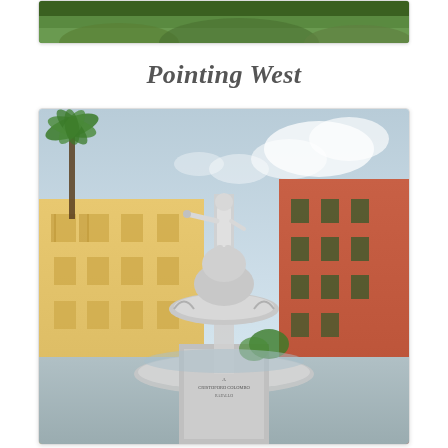[Figure (photo): Top portion of a photo showing green grass/trees background, partially cropped at top of page]
Pointing West
[Figure (photo): A white marble fountain/statue of a figure pointing westward, situated in a piazza surrounded by colorful Italian-style buildings (yellow on left, orange-red on right), with a palm tree visible to the left, cloudy sky background, and ornate basin at the base of the statue]